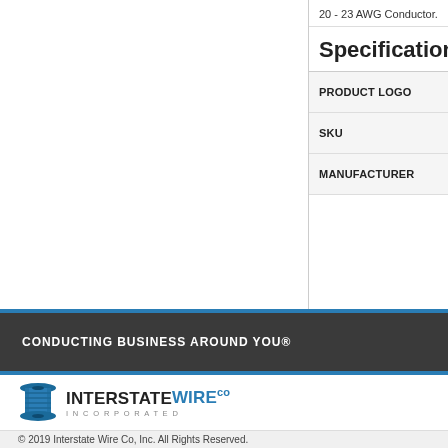20 - 23 AWG Conductor.
Specifications
| PRODUCT LOGO |
| --- |
| SKU |
| MANUFACTURER |
CONDUCTING BUSINESS AROUND YOU®
[Figure (logo): Interstate Wire Co Incorporated logo with blue spool icon]
© 2019 Interstate Wire Co, Inc. All Rights Reserved.